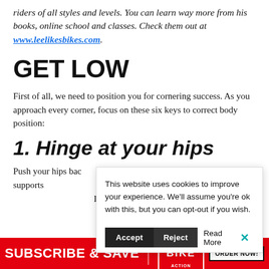riders of all styles and levels. You can learn way more from his books, online school and classes. Check them out at www.leelikesbikes.com.
GET LOW
First of all, we need to position you for cornering success. As you approach every corner, focus on these six keys to correct body position:
1. Hinge at your hips
Push your hips bac... position supports... rather than your q... I'll bet your quads...
This website uses cookies to improve your experience. We'll assume you're ok with this, but you can opt-out if you wish.
[Figure (screenshot): Bottom banner advertisement: red background with 'SUBSCRIBE & SAVE' text, Mountain Bike Action logo, and 'ORDER NOW!' button]